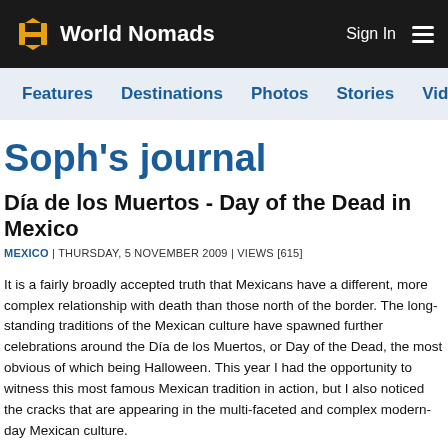World Nomads | Sign In
Features | Destinations | Photos | Stories | Videos | Ta...
Soph's journal
Día de los Muertos - Day of the Dead in Mexico
MEXICO | THURSDAY, 5 NOVEMBER 2009 | VIEWS [615]
It is a fairly broadly accepted truth that Mexicans have a different, more complex relationship with death than those north of the border. The long-standing traditions of the Mexican culture have spawned further celebrations around the Dia de los Muertos, or Day of the Dead, the most obvious of which being Halloween. This year I had the opportunity to witness this most famous Mexican tradition in action, but I also noticed the cracks that are appearing in the multi-faceted and complex modern-day Mexican culture.
Día de los Muertos, in its purest traditions, is a time for the living to reestabli...